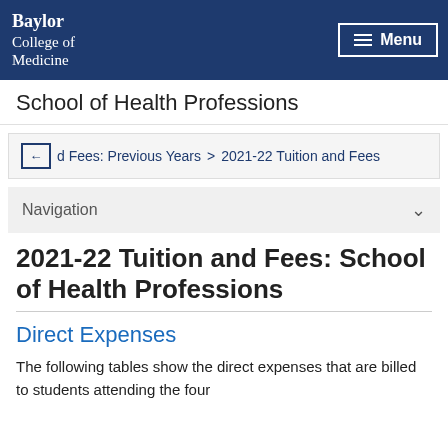Baylor College of Medicine | School of Health Professions
d Fees: Previous Years > 2021-22 Tuition and Fees
Navigation
2021-22 Tuition and Fees: School of Health Professions
Direct Expenses
The following tables show the direct expenses that are billed to students attending the four